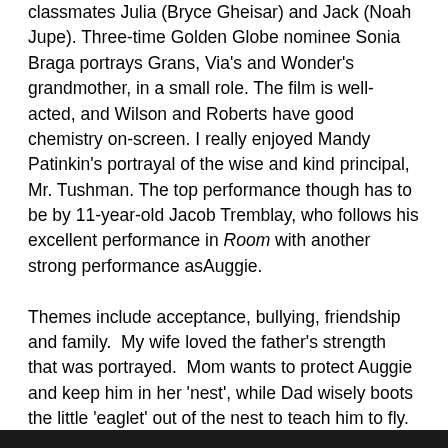classmates Julia (Bryce Gheisar) and Jack (Noah Jupe). Three-time Golden Globe nominee Sonia Braga portrays Grans, Via's and Wonder's grandmother, in a small role. The film is well-acted, and Wilson and Roberts have good chemistry on-screen. I really enjoyed Mandy Patinkin's portrayal of the wise and kind principal, Mr. Tushman. The top performance though has to be by 11-year-old Jacob Tremblay, who follows his excellent performance in Room with another strong performance as Auggie. Themes include acceptance, bullying, friendship and family.  My wife loved the father's strength that was portrayed.  Mom wants to protect Auggie and keep him in her 'nest', while Dad wisely boots the little 'eaglet' out of the nest to teach him to fly.  The film is truly family friendly, with no objectionable content, which is really refreshing these days. And oh yes, you might want to bring a Kleenex with you to the theatre for this heart-warming film.